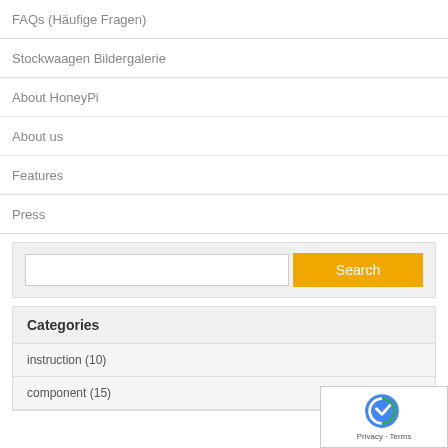FAQs (Häufige Fragen)
Stockwaagen Bildergalerie
About HoneyPi
About us
Features
Press
[Figure (screenshot): Search box with text input field and orange Search button]
Categories
instruction (10)
component (15)